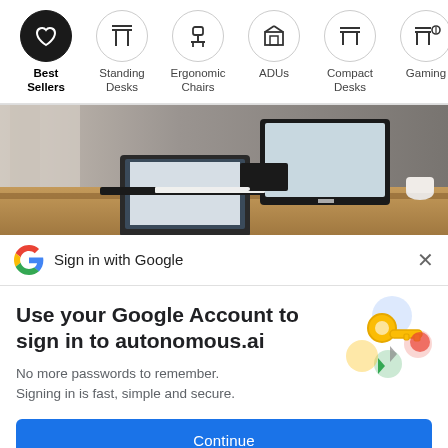[Figure (screenshot): Navigation bar with category icons: Best Sellers (active, black circle), Standing Desks, Ergonomic Chairs, ADUs, Compact Desks, Gaming]
[Figure (photo): Hero image of a desk setup with a laptop, desktop monitor, keyboard and accessories on a wooden desk surface]
Sign in with Google
Use your Google Account to sign in to autonomous.ai
No more passwords to remember. Signing in is fast, simple and secure.
[Figure (illustration): Google key illustration with colorful icons for account security]
Continue